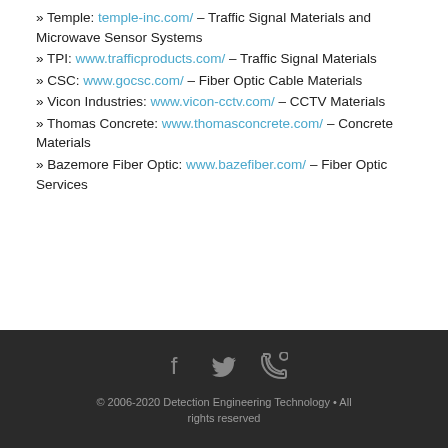» Temple: temple-inc.com/ – Traffic Signal Materials and Microwave Sensor Systems
» TPI: www.trafficproducts.com/ – Traffic Signal Materials
» CSC: www.gocsc.com/ – Fiber Optic Cable Materials
» Vicon Industries: www.vicon-cctv.com/ – CCTV Materials
» Thomas Concrete: www.thomasconcrete.com/ – Concrete Materials
» Bazemore Fiber Optic: www.bazefiber.com/ – Fiber Optic Services
© 2006-2020 Detection Engineering Technology • All rights reserved